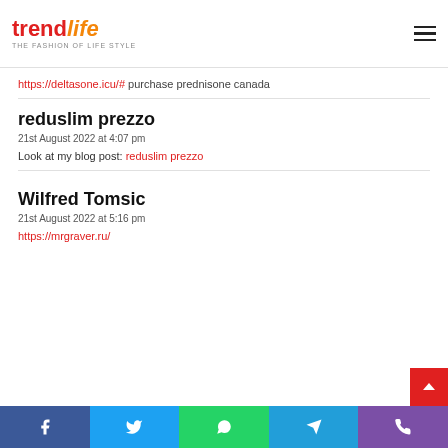trendlife — THE FASHION OF LIFE STYLE
https://deltasone.icu/# purchase prednisone canada
reduslim prezzo
21st August 2022 at 4:07 pm
Look at my blog post: reduslim prezzo
Wilfred Tomsic
21st August 2022 at 5:16 pm
https://mrgraver.ru/
Facebook Twitter WhatsApp Telegram Phone